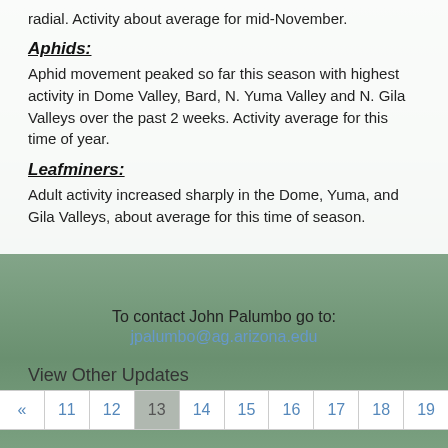radial. Activity about average for mid-November.
Aphids:
Aphid movement peaked so far this season with highest activity in Dome Valley, Bard, N. Yuma Valley and N. Gila Valleys over the past 2 weeks. Activity average for this time of year.
Leafminers:
Adult activity increased sharply in the Dome, Yuma, and Gila Valleys, about average for this time of season.
To contact John Palumbo go to:
jpalumbo@ag.arizona.edu
View Other Updates
« 11 12 13 14 15 16 17 18 19